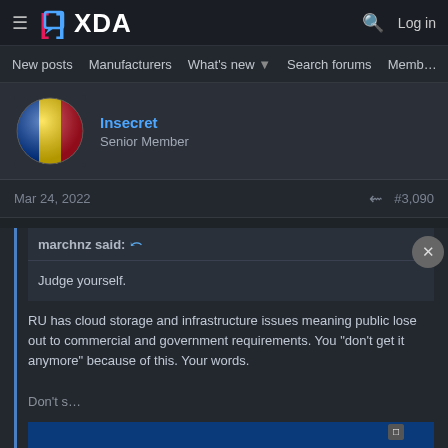XDA Forums — hamburger menu, XDA logo, search icon, Log in
New posts  Manufacturers  What's new ▾  Search forums  Members  >
Insecret
Senior Member
Mar 24, 2022  #3,090
marchnz said: ↩
Judge yourself.
RU has cloud storage and infrastructure issues meaning public lose out to commercial and government requirements. You "don't get it anymore" because of this. Your words.
Don't s…
[Figure (screenshot): Disney Bundle advertisement banner — shows Hulu, Disney+, ESPN+ logos with 'GET THE DISNEY BUNDLE' text and disclaimer]
Last reply in this subject for you, maybe you will understand what are you doing.